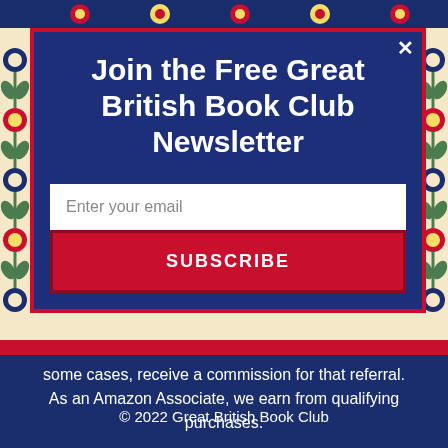[Figure (illustration): Decorative floral pattern background with blue, red, yellow and cream colors forming a border around the modal popup]
Join the Free Great British Book Club Newsletter
Enter your email
SUBSCRIBE
some cases, receive a commission for that referral.
As an Amazon Associate, we earn from qualifying purchases.
© 2022 Great British Book Club